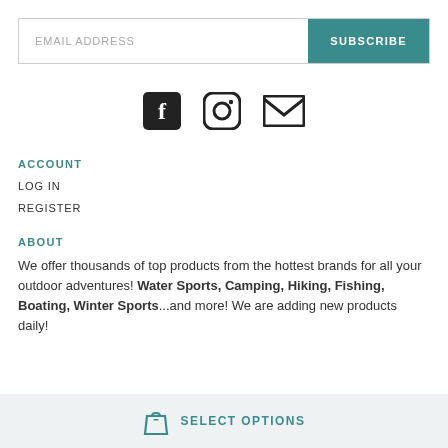EMAIL ADDRESS
SUBSCRIBE
[Figure (illustration): Social media icons: Facebook, Instagram, Email]
ACCOUNT
LOG IN
REGISTER
ABOUT
We offer thousands of top products from the hottest brands for all your outdoor adventures! Water Sports, Camping, Hiking, Fishing, Boating, Winter Sports...and more! We are adding new products daily!
SELECT OPTIONS